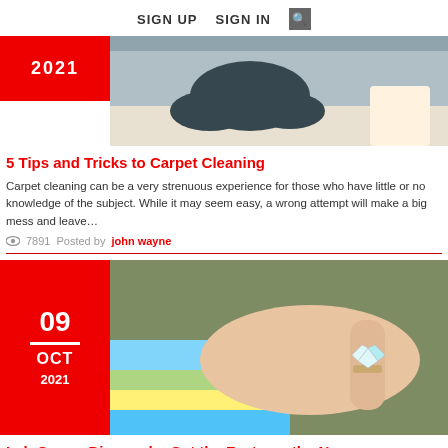SIGN UP   SIGN IN   🔍
[Figure (photo): Person cleaning carpet, with red date badge showing 2021]
5 Tips and Tricks to Carpet Cleaning
Carpet cleaning can be a very strenuous experience for those who have little or no knowledge of the subject. While it may seem easy, a wrong attempt will make a big mess and leave…
👁 7891   Posted by john wayne
[Figure (photo): Close-up of a hand wearing a diamond ring on a colorful knitted sleeve, with red date badge showing 09 OCT 2021]
Lab Grown Diamonds: Get the Facts on the Ne…
Lab-grown diamonds have become famous for the last few